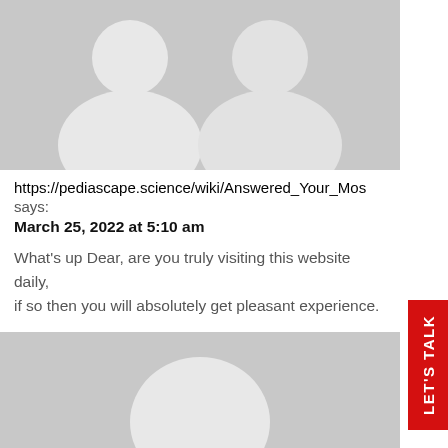[Figure (illustration): Gray placeholder avatar image showing two person silhouettes side by side, top of page]
https://pediascape.science/wiki/Answered_Your_Mos says:
March 25, 2022 at 5:10 am
What's up Dear, are you truly visiting this website daily,
if so then you will absolutely get pleasant experience.
[Figure (illustration): Gray placeholder avatar image showing two person silhouettes side by side, middle of page]
https://yuerfang.vip/home.php?mod=space&uid=167321 says:
March 25, 2022 at 5:11 am
Hi would you mind letting me know which hosting company
you're using? I've loaded your blog in 3